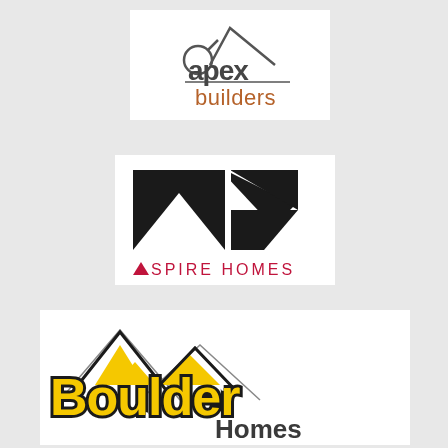[Figure (logo): Apex Builders logo: stylized house outline with a circle forming the 'a', text 'apex' in dark gray lowercase and 'builders' in orange/brown below, with a horizontal line accent.]
[Figure (logo): Aspire Homes logo: bold black geometric roofline/mountain shape with chevron cutout, text 'ASPIRE HOMES' in crimson red below with a small triangle replacing the 'A'.]
[Figure (logo): Boulder Homes logo: mountain peaks silhouette with yellow highlights, bold yellow text 'Boulder' with thick black outline, and 'Homes' in dark gray below.]